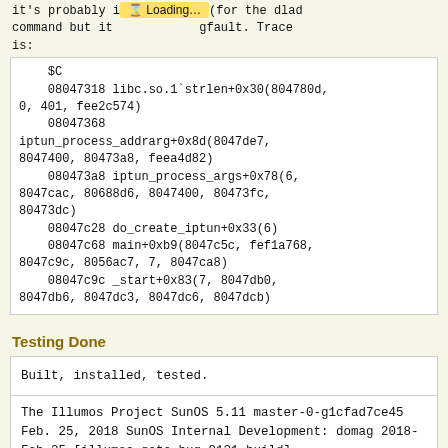it's probably i... (for the dlad command but it ...gfault. Trace is:
$C
08047318 libc.so.1`strlen+0x30(804780d, 0, 401, fee2c574)
    08047368
iptun_process_addrarg+0x8d(8047de7, 8047400, 80473a8, feea4d82)
    080473a8 iptun_process_args+0x78(6, 8047cac, 80688d6, 8047400, 80473fc, 80473dc)
    08047c28 do_create_iptun+0x33(6)
    08047c68 main+0xb9(8047c5c, fef1a768, 8047c9c, 8056ac7, 7, 8047ca8)
    08047c9c _start+0x83(7, 8047db0, 8047db6, 8047dc3, 8047dc6, 8047dcb)
Testing Done
Built, installed, tested.
The Illumos Project      SunOS 5.11
master-0-g1cfad7ce45      Feb. 25, 2018
SunOS Internal Development: domag 2018-Feb-25
[illumos-gate-bug-9121_build]